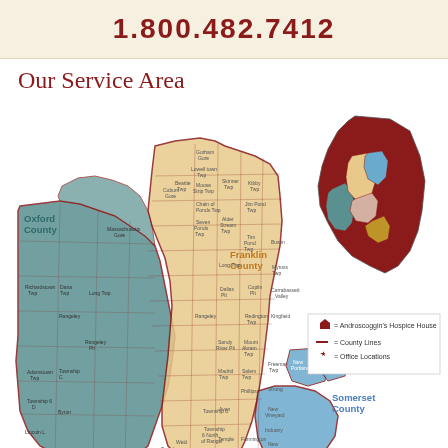1.800.482.7412
Our Service Area
[Figure (map): Service area map showing Oxford County (teal/green), Franklin County (tan/peach), and Somerset County (blue) in Maine, with county boundary lines and small town labels. An inset shows the full state of Maine with service counties highlighted in dark red, teal, peach, and blue.]
= Androscoggin's Hospice House
= County Lines
= Office Locations